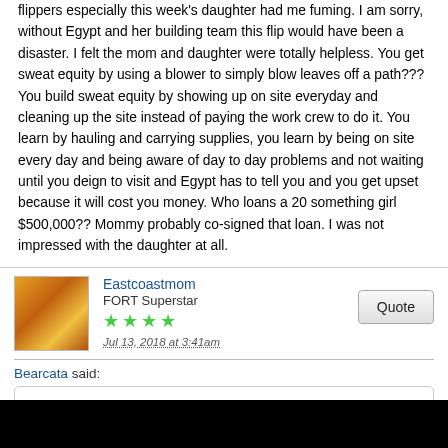flippers especially this week's daughter had me fuming. I am sorry, without Egypt and her building team this flip would have been a disaster. I felt the mom and daughter were totally helpless. You get sweat equity by using a blower to simply blow leaves off a path??? You build sweat equity by showing up on site everyday and cleaning up the site instead of paying the work crew to do it. You learn by hauling and carrying supplies, you learn by being on site every day and being aware of day to day problems and not waiting until you deign to visit and Egypt has to tell you and you get upset because it will cost you money. Who loans a 20 something girl $500,000?? Mommy probably co-signed that loan. I was not impressed with the daughter at all.
Eastcoastmom
FORT Superstar
★★★★
Jul 13, 2018 at 3:41am
Bearcata said:
Flipping Virgins - while I luv host Egypt, some of the guests, the newbie flippers especially this week's daughter had me fuming. I am sorry, without Egypt and her building team this flip would have been a disaster. I felt the mom and daughter were totally helpless. You get sweat equity by using a blower to simply blow leaves off a path??? You build sweat equity by showing up on site everyday and